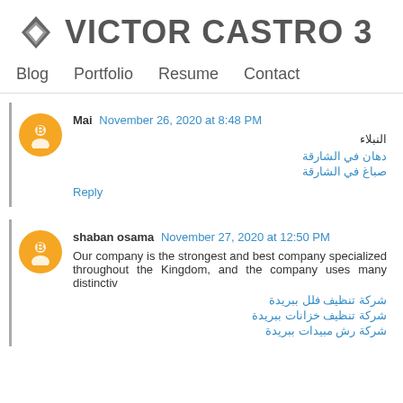VICTOR CASTRO 3
Blog  Portfolio  Resume  Contact
Mai  November 26, 2020 at 8:48 PM
النبلاء
دهان في الشارقة
صباغ في الشارقة
Reply
shaban osama  November 27, 2020 at 12:50 PM
Our company is the strongest and best company specialized throughout the Kingdom, and the company uses many distinctive
شركة تنظيف فلل ببريدة
شركة تنظيف خزانات ببريدة
شركة رش مبيدات ببريدة